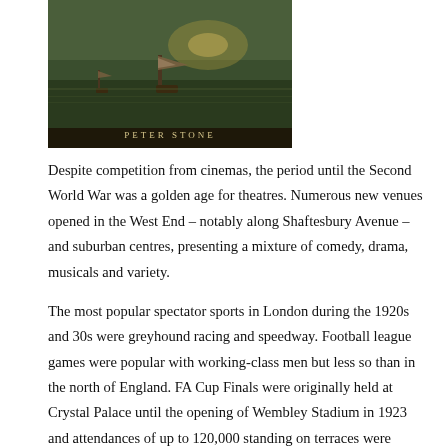[Figure (illustration): Book cover image showing a maritime/sailing scene with ships on water, with the author name 'PETER STONE' displayed in gold lettering near the bottom]
Despite competition from cinemas, the period until the Second World War was a golden age for theatres. Numerous new venues opened in the West End – notably along Shaftesbury Avenue – and suburban centres, presenting a mixture of comedy, drama, musicals and variety.
The most popular spectator sports in London during the 1920s and 30s were greyhound racing and speedway. Football league games were popular with working-class men but less so than in the north of England. FA Cup Finals were originally held at Crystal Palace until the opening of Wembley Stadium in 1923 and attendances of up to 120,000 standing on terraces were recorded. Other sports such as boxing, wrestling, cricket, horse-racing and ice-skating were also enjoyed by Londoners.